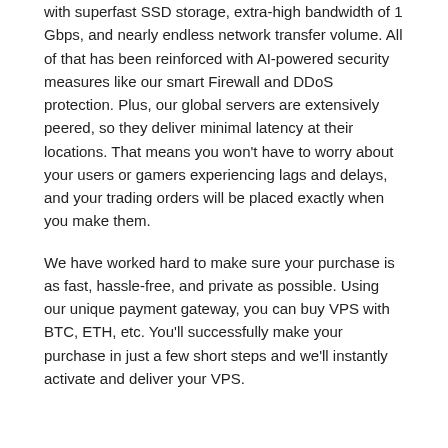with superfast SSD storage, extra-high bandwidth of 1 Gbps, and nearly endless network transfer volume. All of that has been reinforced with AI-powered security measures like our smart Firewall and DDoS protection. Plus, our global servers are extensively peered, so they deliver minimal latency at their locations. That means you won't have to worry about your users or gamers experiencing lags and delays, and your trading orders will be placed exactly when you make them.
We have worked hard to make sure your purchase is as fast, hassle-free, and private as possible. Using our unique payment gateway, you can buy VPS with BTC, ETH, etc. You'll successfully make your purchase in just a few short steps and we'll instantly activate and deliver your VPS.
Why Should You Buy VPS with Bitcoin?
Privacy — You won't have to share anything you don't want to. In